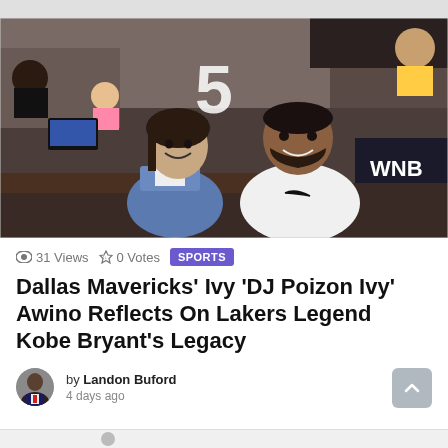[Figure (photo): Photo of Kobe Bryant and his daughter Gianna smiling together courtside at a WNBA game. A large number 5 is visible in the background. WNBA logo visible on right side.]
31 Views  0 Votes  SPORTS
Dallas Mavericks' Ivy 'DJ Poizon Ivy' Awino Reflects On Lakers Legend Kobe Bryant's Legacy
by Landon Buford
4 days ago